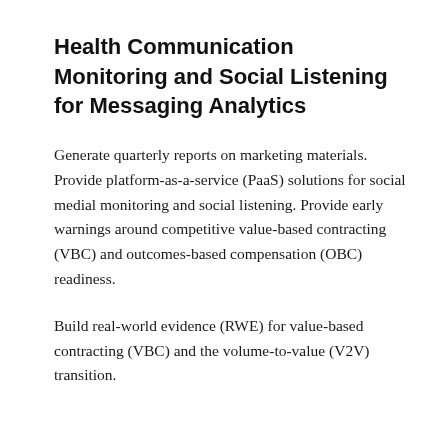Health Communication Monitoring and Social Listening for Messaging Analytics
Generate quarterly reports on marketing materials. Provide platform-as-a-service (PaaS) solutions for social medial monitoring and social listening. Provide early warnings around competitive value-based contracting (VBC) and outcomes-based compensation (OBC) readiness.
Build real-world evidence (RWE) for value-based contracting (VBC) and the volume-to-value (V2V) transition.